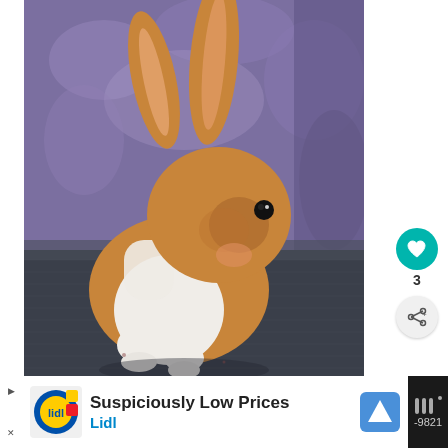[Figure (photo): A small brown and white rabbit sitting on a dark blue-grey carpet, facing slightly right. The rabbit has upright ears with orange-brown fur on the outside and pink inside, a white patch on its chest and belly, and white front paws. The background behind the rabbit is a purple fabric or curtain. The rabbit has a dark eye visible on the right side of its face.]
[Figure (infographic): Teal circular heart/like button with white heart icon, showing count of 3 below it, and a grey circular share button with share icon below that.]
[Figure (screenshot): Advertisement banner for Lidl grocery store showing 'Suspiciously Low Prices' text with Lidl logo (yellow and red squares), a navigation arrow icon in teal/blue, and the right side has a dark background with a Waze-style navigation icon and partial text '-9821'.]